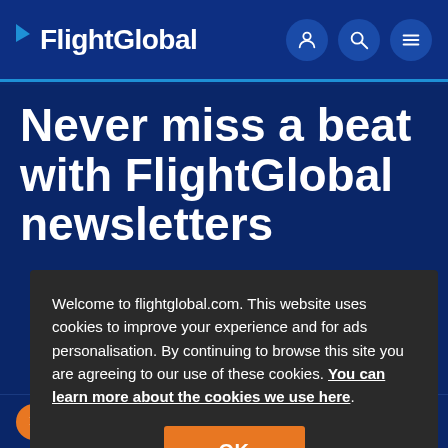FlightGlobal
Never miss a beat with FlightGlobal newsletters
Welcome to flightglobal.com. This website uses cookies to improve your experience and for ads personalisation. By continuing to browse this site you are agreeing to our use of these cookies. You can learn more about the cookies we use here.
OK
Defence Briefing